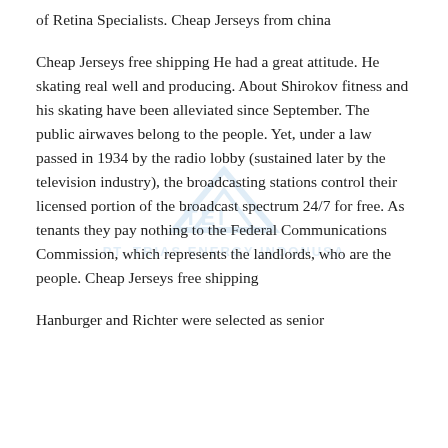of Retina Specialists. Cheap Jerseys from china
Cheap Jerseys free shipping He had a great attitude. He skating real well and producing. About Shirokov fitness and his skating have been alleviated since September. The public airwaves belong to the people. Yet, under a law passed in 1934 by the radio lobby (sustained later by the television industry), the broadcasting stations control their licensed portion of the broadcast spectrum 24/7 for free. As tenants they pay nothing to the Federal Communications Commission, which represents the landlords, who are the people. Cheap Jerseys free shipping
Hanburger and Richter were selected as senior